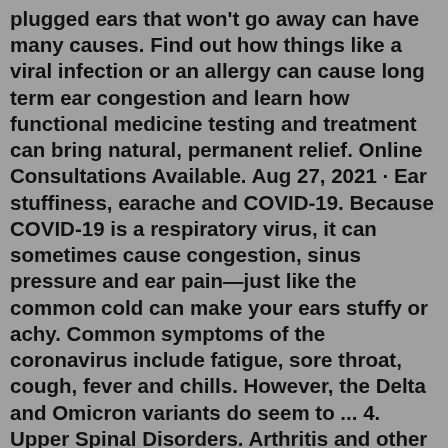plugged ears that won't go away can have many causes. Find out how things like a viral infection or an allergy can cause long term ear congestion and learn how functional medicine testing and treatment can bring natural, permanent relief. Online Consultations Available. Aug 27, 2021 · Ear stuffiness, earache and COVID-19. Because COVID-19 is a respiratory virus, it can sometimes cause congestion, sinus pressure and ear pain—just like the common cold can make your ears stuffy or achy. Common symptoms of the coronavirus include fatigue, sore throat, cough, fever and chills. However, the Delta and Omicron variants do seem to ... 4. Upper Spinal Disorders. Arthritis and other disorders affecting the bones of the uppermost spine at the base of the skull can cause both headaches and earaches. The pain usually arises due to the compression of nerves as they exit the spinal cord. Headaches due to this cause usually occur at the back of the head, while ear pain can occur in ...place a warm or cold flannel on the ear remove any discharge by wiping the ear with cotton wool Don't do not put